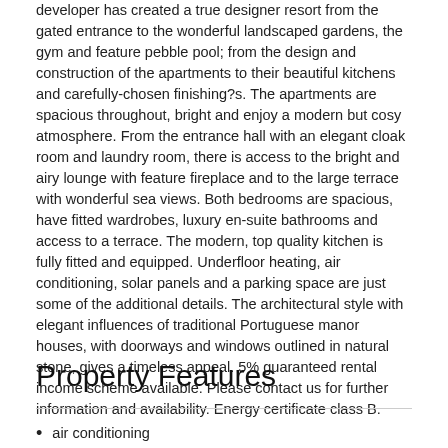developer has created a true designer resort from the gated entrance to the wonderful landscaped gardens, the gym and feature pebble pool; from the design and construction of the apartments to their beautiful kitchens and carefully-chosen finishing?s. The apartments are spacious throughout, bright and enjoy a modern but cosy atmosphere. From the entrance hall with an elegant cloak room and laundry room, there is access to the bright and airy lounge with feature fireplace and to the large terrace with wonderful sea views. Both bedrooms are spacious, have fitted wardrobes, luxury en-suite bathrooms and access to a terrace. The modern, top quality kitchen is fully fitted and equipped. Underfloor heating, air conditioning, solar panels and a parking space are just some of the additional details. The architectural style with elegant influences of traditional Portuguese manor houses, with doorways and windows outlined in natural stone, gives a timeless appeal. 5% guaranteed rental income scheme available. Please contact us for further information and availability. Energy certificate class B.
Property Features
air conditioning